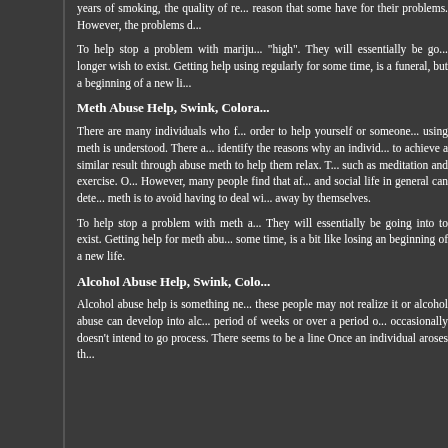years of smoking, the quality of re... reason that some have for their ... problems. However, the problems d...
To help stop a problem with mariju... "high". They will essentially be go... longer wish to exist. Getting help ... using regularly for some time, is a... funeral, but a beginning of a new li...
Meth Abuse Help, Swink, Colora...
There are many individuals who f... order to help yourself or someone... using meth is understood. There a... identify the reasons why an individ... to achieve a similar result through ... abuse meth to help them relax. T... such as meditation and exercise. O... However, many people find that af... and social life in general can dete... meth is to avoid having to deal wi... away by themselves.
To help stop a problem with meth a... They will essentially be going into ... to exist. Getting help for meth abu... some time, is a bit like losing an ... beginning of a new life.
Alcohol Abuse Help, Swink, Colo...
Alcohol abuse help is something ne... these people may not realize it or ... alcohol abuse can develop into alc... period of weeks or over a period o... occasionally doesn't intend to go ... process. There seems to be a line ... Once an individual aroses th...